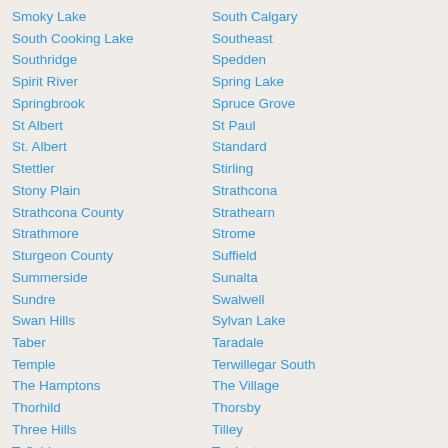Smoky Lake
South Cooking Lake
Southridge
Spirit River
Springbrook
St Albert
St. Albert
Stettler
Stony Plain
Strathcona County
Strathmore
Sturgeon County
Summerside
Sundre
Swan Hills
Taber
Temple
The Hamptons
Thorhild
Three Hills
Tofield
Tribute
Turin
South Calgary
Southeast
Spedden
Spring Lake
Spruce Grove
St Paul
Standard
Stirling
Strathcona
Strathearn
Strome
Suffield
Sunalta
Swalwell
Sylvan Lake
Taradale
Terwillegar South
The Village
Thorsby
Tilley
Torrington
Trochu
Turner Valley